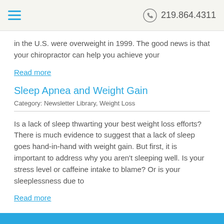219.864.4311
in the U.S. were overweight in 1999. The good news is that your chiropractor can help you achieve your
Read more
Sleep Apnea and Weight Gain
Category: Newsletter Library, Weight Loss
Is a lack of sleep thwarting your best weight loss efforts? There is much evidence to suggest that a lack of sleep goes hand-in-hand with weight gain. But first, it is important to address why you aren't sleeping well. Is your stress level or caffeine intake to blame? Or is your sleeplessness due to
Read more